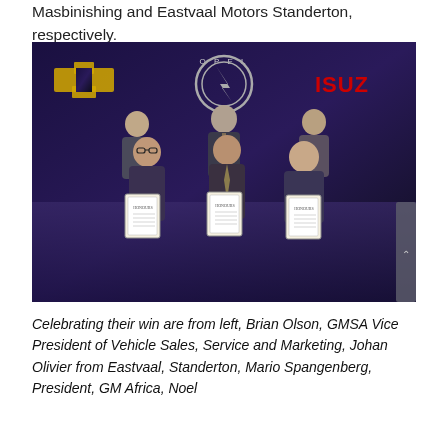Masbinishing and Eastvaal Motors Standerton, respectively.
[Figure (photo): Group photo of six men in suits standing in front of a dark backdrop displaying the Chevrolet, Opel, and Isuzu logos. Three men in the front row hold framed HONOURS award certificates. Two men stand behind them and one more stands at the far back center.]
Celebrating their win are from left, Brian Olson, GMSA Vice President of Vehicle Sales, Service and Marketing, Johan Olivier from Eastvaal, Standerton, Mario Spangenberg, President, GM Africa, Noel